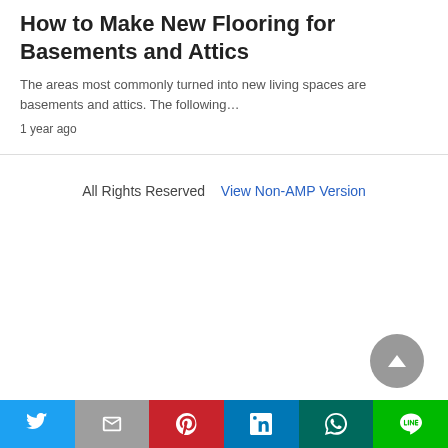How to Make New Flooring for Basements and Attics
The areas most commonly turned into new living spaces are basements and attics. The following…
1 year ago
All Rights Reserved   View Non-AMP Version